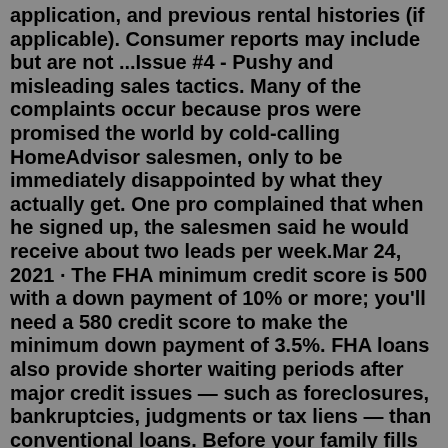application, and previous rental histories (if applicable). Consumer reports may include but are not ...Issue #4 - Pushy and misleading sales tactics. Many of the complaints occur because pros were promised the world by cold-calling HomeAdvisor salesmen, only to be immediately disappointed by what they actually get. One pro complained that when he signed up, the salesmen said he would receive about two leads per week.Mar 24, 2021 · The FHA minimum credit score is 500 with a down payment of 10% or more; you'll need a 580 credit score to make the minimum down payment of 3.5%. FHA loans also provide shorter waiting periods after major credit issues — such as foreclosures, bankruptcies, judgments or tax liens — than conventional loans. Before your family fills out the FAFSA, check out the 14 biggest mistakes you should avoid to optimize the amount of money your family receives in financial aid. 1. Not Filling out the FAFSA. The ...Navy Federal Union. Good news: most lenders cap their interest rates at a certain percentage. Bad news: that cap for